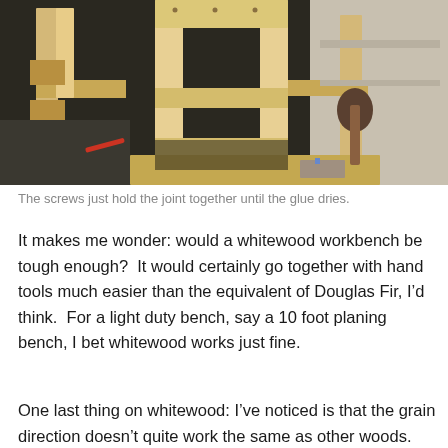[Figure (photo): A partially assembled wooden workbench frame made of light-colored pine/whitewood lumber, photographed in a workshop setting. The structure shows mortise and tenon joinery with screw holes visible. A wooden mallet and tools are visible on the floor nearby.]
The screws just hold the joint together until the glue dries.
It makes me wonder: would a whitewood workbench be tough enough?  It would certainly go together with hand tools much easier than the equivalent of Douglas Fir, I’d think.  For a light duty bench, say a 10 foot planing bench, I bet whitewood works just fine.
One last thing on whitewood: I’ve noticed is that the grain direction doesn’t quite work the same as other woods.